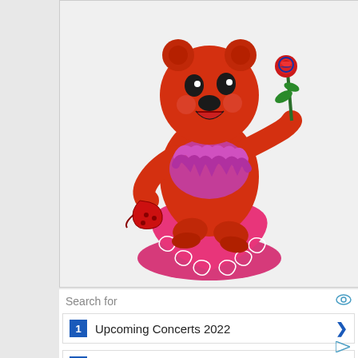[Figure (photo): A red Grateful Dead dancing bear figurine/bobblehead standing on a pink heart-shaped base. The bear is red, wearing a pink/purple feather boa collar, holding a heart-shaped shoe in one hand and a rose on a black stem in the other. The base is bright pink with a white lace-like border pattern.]
Search for
1  Upcoming Concerts 2022
2  Pink Floyd Concert